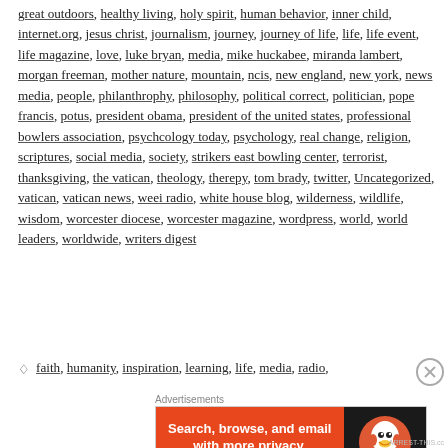great outdoors, healthy living, holy spirit, human behavior, inner child, internet.org, jesus christ, journalism, journey, journey of life, life, life event, life magazine, love, luke bryan, media, mike huckabee, miranda lambert, morgan freeman, mother nature, mountain, ncis, new england, new york, news media, people, philanthrophy, philosophy, political correct, politician, pope francis, potus, president obama, president of the united states, professional bowlers association, psychcology today, psychology, real change, religion, scriptures, social media, society, strikers east bowling center, terrorist, thanksgiving, the vatican, theology, therepy, tom brady, twitter, Uncategorized, vatican, vatican news, weei radio, white house blog, wilderness, wildlife, wisdom, worcester diocese, worcester magazine, wordpress, world, world leaders, worldwide, writers digest
faith, humanity, inspiration, learning, life, media, radio,
[Figure (infographic): DuckDuckGo advertisement banner: orange left panel with text 'Search, browse, and email with more privacy. All in One Free App', dark right panel with DuckDuckGo logo duck icon]
Advertisements